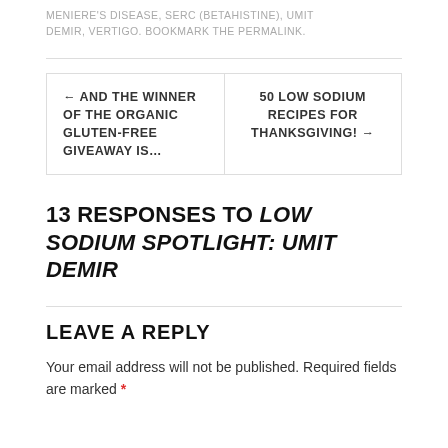MENIERE'S DISEASE, SERC (BETAHISTINE), UMIT DEMIR, VERTIGO. BOOKMARK THE PERMALINK.
← AND THE WINNER OF THE ORGANIC GLUTEN-FREE GIVEAWAY IS…
50 LOW SODIUM RECIPES FOR THANKSGIVING! →
13 RESPONSES TO LOW SODIUM SPOTLIGHT: UMIT DEMIR
LEAVE A REPLY
Your email address will not be published. Required fields are marked *